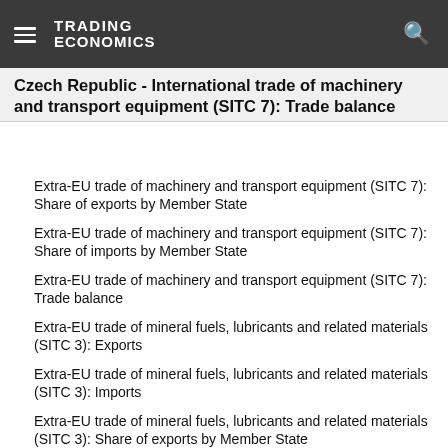TRADING ECONOMICS
Czech Republic - International trade of machinery and transport equipment (SITC 7): Trade balance
Extra-EU trade of machinery and transport equipment (SITC 7): Share of exports by Member State
Extra-EU trade of machinery and transport equipment (SITC 7): Share of imports by Member State
Extra-EU trade of machinery and transport equipment (SITC 7): Trade balance
Extra-EU trade of mineral fuels, lubricants and related materials (SITC 3): Exports
Extra-EU trade of mineral fuels, lubricants and related materials (SITC 3): Imports
Extra-EU trade of mineral fuels, lubricants and related materials (SITC 3): Share of exports by Member State
Extra-EU trade of mineral fuels, lubricants and related materials (SITC 3): Share of imports by Member State
Extra-EU trade of mineral fuels, lubricants and related materials (SITC 3): Trade balance
Extra-EU trade of other manufactured goods (SITC 6+8):